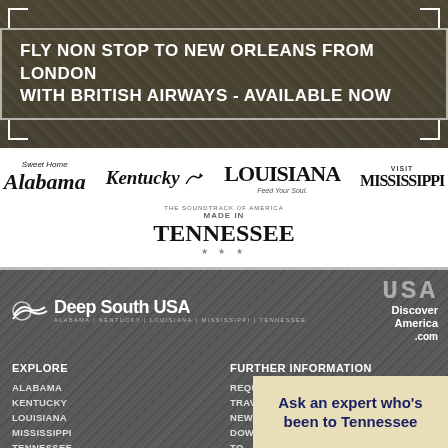[Figure (photo): Street scene background image with banner text overlay: FLY NON STOP TO NEW ORLEANS FROM LONDON WITH BRITISH AIRWAYS - AVAILABLE NOW]
[Figure (logo): Sweet Home Alabama logo]
[Figure (logo): Kentucky Unbridled Spirit logo]
[Figure (logo): Louisiana Feed Your Soul logo]
[Figure (logo): Visit Mississippi logo]
[Figure (logo): Made in Tennessee - The Soundtrack of America logo]
[Figure (photo): Dark leather texture background with Deep South USA logo and Discover America.com logo, navigation links for EXPLORE and FURTHER INFORMATION sections]
Ask an expert who's been to Tennessee